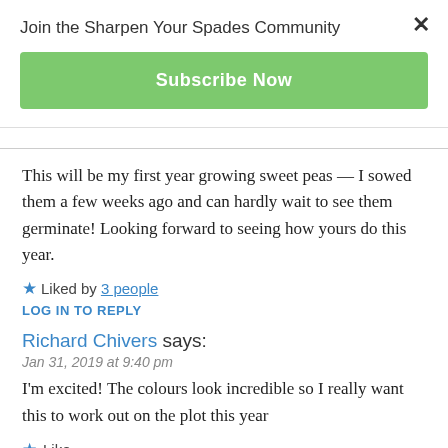Join the Sharpen Your Spades Community
Subscribe Now
This will be my first year growing sweet peas — I sowed them a few weeks ago and can hardly wait to see them germinate! Looking forward to seeing how yours do this year.
★ Liked by 3 people
LOG IN TO REPLY
Richard Chivers says:
Jan 31, 2019 at 9:40 pm
I'm excited! The colours look incredible so I really want this to work out on the plot this year
★ Like